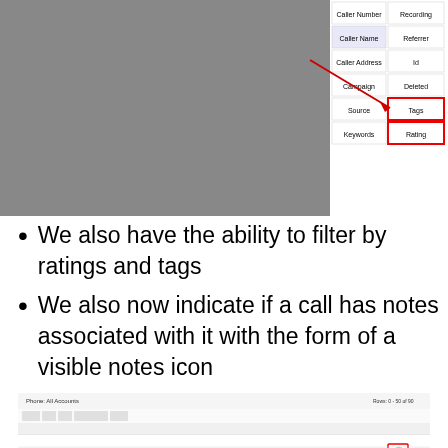[Figure (screenshot): Screenshot of a UI showing a list of fields including Caller Number, Recording, Caller Name, Referrer, Caller Address, Id, Campaign, Deleted, Source, Tags (highlighted with red box), Keywords, Rating (highlighted with red box). A red diagonal arrow points to Tags.]
We also have the ability to filter by ratings and tags
We also now indicate if a call has notes associated with it with the form of a visible notes icon
[Figure (screenshot): Screenshot of a call list table with columns for date, caller info, caller address, campaign, location, tags, and notes. One row has a notes icon highlighted with a red box.]
Template Editor now supports Support CTRL - S for Save